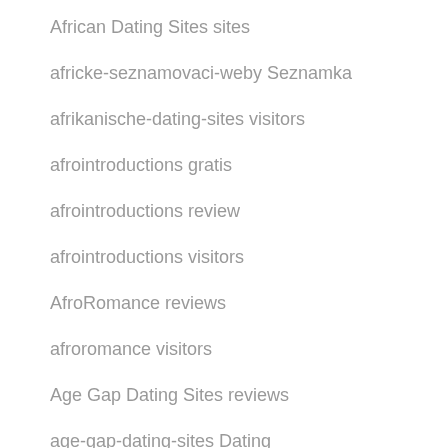African Dating Sites sites
africke-seznamovaci-weby Seznamka
afrikanische-dating-sites visitors
afrointroductions gratis
afrointroductions review
afrointroductions visitors
AfroRomance reviews
afroromance visitors
Age Gap Dating Sites reviews
age-gap-dating-sites Dating